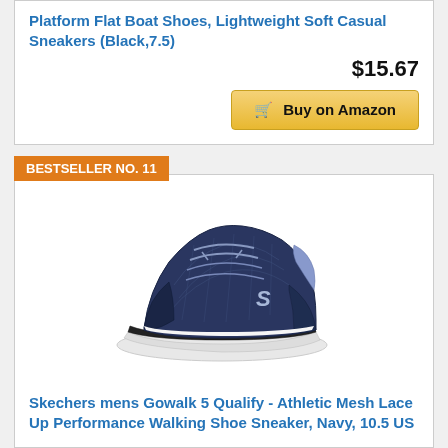Platform Flat Boat Shoes, Lightweight Soft Casual Sneakers (Black,7.5)
$15.67
Buy on Amazon
BESTSELLER NO. 11
[Figure (photo): Navy blue Skechers Gowalk 5 Qualify athletic walking shoe with white sole, shown from the side]
Skechers mens Gowalk 5 Qualify - Athletic Mesh Lace Up Performance Walking Shoe Sneaker, Navy, 10.5 US